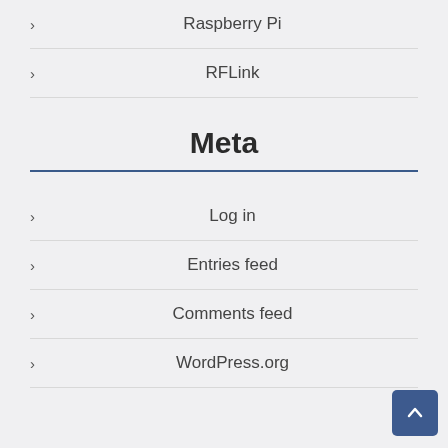Raspberry Pi
RFLink
Meta
Log in
Entries feed
Comments feed
WordPress.org